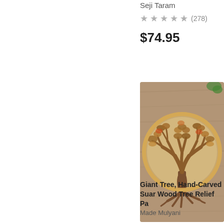Seji Taram
★★★★☆ (278)
$74.95
[Figure (photo): A hand-carved wooden tree of life relief panel, circular in shape with intricate branching tree design and roots, set on a wooden surface background.]
Giant Tree, Hand-Carved Suar Wood Tree Relief Pa
Made Mulyani